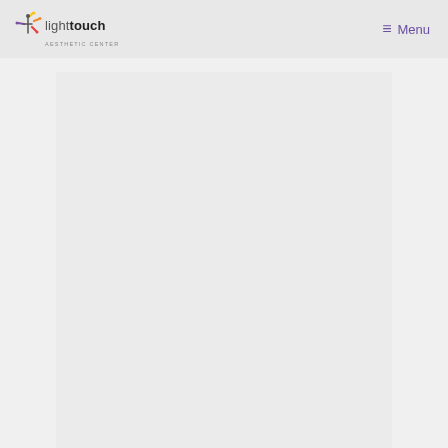lighttouch AESTHETIC CENTER  ≡ Menu
[Figure (other): Large light gray content area below the header, representing main page body with whitespace]